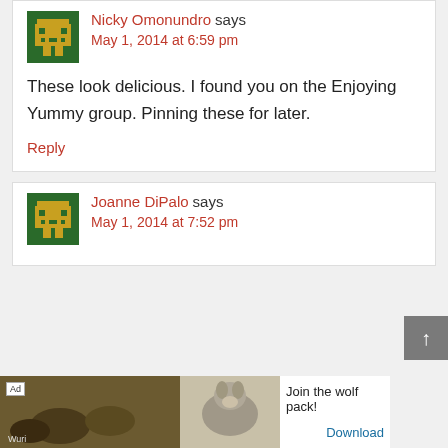Nicky Omonundro says
May 1, 2014 at 6:59 pm
These look delicious. I found you on the Enjoying Yummy group. Pinning these for later.
Reply
Joanne DiPalo says
May 1, 2014 at 7:52 pm
[Figure (other): Ad banner with wolves: 'Join the wolf pack!' with Download link]